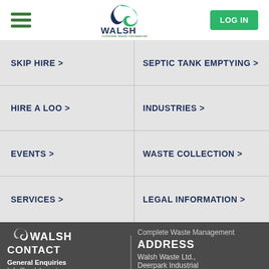Walsh Complete Waste Management - navigation header with hamburger menu, logo, and LOG IN button
SKIP HIRE >
SEPTIC TANK EMPTYING >
HIRE A LOO >
INDUSTRIES >
EVENTS >
WASTE COLLECTION >
SERVICES >
LEGAL INFORMATION >
WALSH CONTACT | Complete Waste Management | ADDRESS | General Enquiries | Info@walshwaste.com | Walsh Waste Ltd., Deerpark Industrial